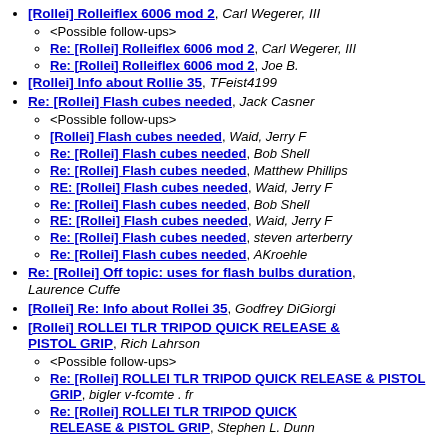[Rollei] Rolleiflex 6006 mod 2, Carl Wegerer, III
<Possible follow-ups>
Re: [Rollei] Rolleiflex 6006 mod 2, Carl Wegerer, III
Re: [Rollei] Rolleiflex 6006 mod 2, Joe B.
[Rollei] Info about Rollie 35, TFeist4199
Re: [Rollei] Flash cubes needed, Jack Casner
<Possible follow-ups>
[Rollei] Flash cubes needed, Waid, Jerry F
Re: [Rollei] Flash cubes needed, Bob Shell
Re: [Rollei] Flash cubes needed, Matthew Phillips
RE: [Rollei] Flash cubes needed, Waid, Jerry F
Re: [Rollei] Flash cubes needed, Bob Shell
RE: [Rollei] Flash cubes needed, Waid, Jerry F
Re: [Rollei] Flash cubes needed, steven arterberry
Re: [Rollei] Flash cubes needed, AKroehle
Re: [Rollei] Off topic: uses for flash bulbs duration, Laurence Cuffe
[Rollei] Re: Info about Rollei 35, Godfrey DiGiorgi
[Rollei] ROLLEI TLR TRIPOD QUICK RELEASE & PISTOL GRIP, Rich Lahrson
<Possible follow-ups>
Re: [Rollei] ROLLEI TLR TRIPOD QUICK RELEASE & PISTOL GRIP, bigler v-fcomte . fr
Re: [Rollei] ROLLEI TLR TRIPOD QUICK RELEASE & PISTOL GRIP, Stephen L. Dunn